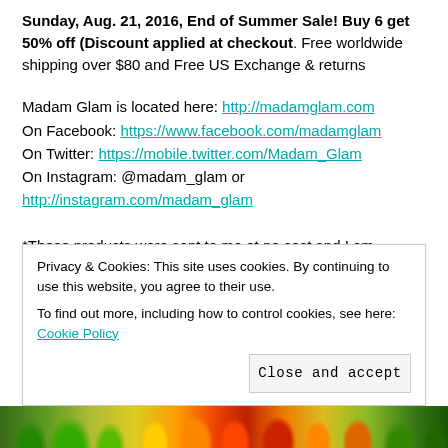Sunday, Aug. 21, 2016, End of Summer Sale! Buy 6 get 50% off (Discount applied at checkout. Free worldwide shipping over $80 and Free US Exchange & returns
Madam Glam is located here: http://madamglam.com
On Facebook: https://www.facebook.com/madamglam
On Twitter: https://mobile.twitter.com/Madam_Glam
On Instagram: @madam_glam or http://instagram.com/madam_glam
*These products were sent to me at no cost and I am
Privacy & Cookies: This site uses cookies. By continuing to use this website, you agree to their use.
To find out more, including how to control cookies, see here: Cookie Policy
[Figure (photo): Strip of colorful vegetables and produce at the bottom of the page]